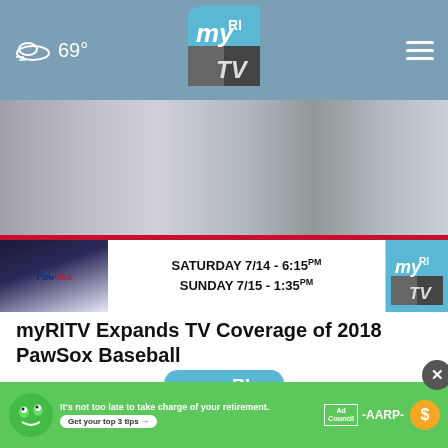69° myRI TV
[Figure (photo): Baseball players on field with PawSox banner overlay showing Saturday 7/14 - 6:15pm and Sunday 7/15 - 1:35pm schedule with myRI TV logo]
myRITV Expands TV Coverage of 2018 PawSox Baseball
[Figure (logo): myRI TV logo - large icon with blue/grey gradient and stylized my, RI, TV text]
myRI... ded their partnership for the 2018 season. Viewers can
[Figure (infographic): AARP advertisement banner: It's not too late to take charge of your retirement. Get your top 3 tips. Ad Council and AARP logos with gold coin icon. Green background with cartoon face character.]